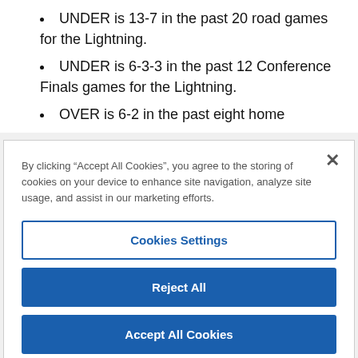UNDER is 13-7 in the past 20 road games for the Lightning.
UNDER is 6-3-3 in the past 12 Conference Finals games for the Lightning.
OVER is 6-2 in the past eight home
By clicking “Accept All Cookies”, you agree to the storing of cookies on your device to enhance site navigation, analyze site usage, and assist in our marketing efforts.
Cookies Settings
Reject All
Accept All Cookies